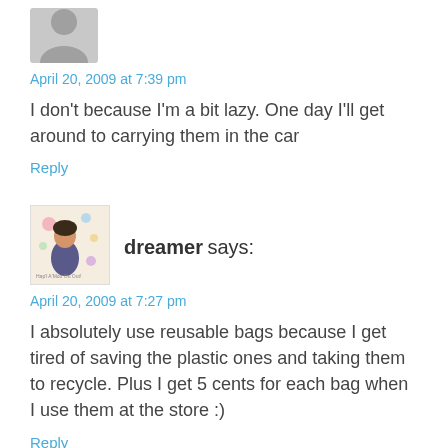[Figure (illustration): Grey silhouette avatar placeholder for a user comment]
April 20, 2009 at 7:39 pm
I don't because I'm a bit lazy. One day I'll get around to carrying them in the car
Reply
[Figure (illustration): Colorful cartoon avatar image for user 'dreamer' showing an illustrated female character with balloons and text]
dreamer says:
April 20, 2009 at 7:27 pm
I absolutely use reusable bags because I get tired of saving the plastic ones and taking them to recycle. Plus I get 5 cents for each bag when I use them at the store :)
Reply